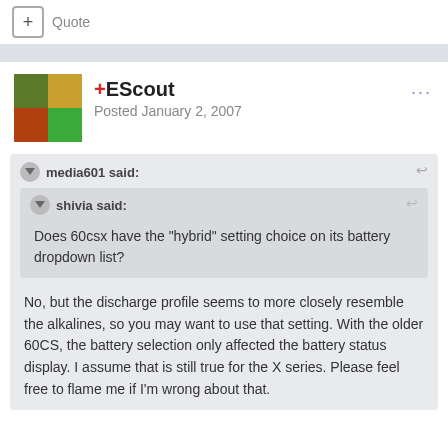+ Quote
+EScout
Posted January 2, 2007
media601 said:
shivia said:
Does 60csx have the "hybrid" setting choice on its battery dropdown list?
No, but the discharge profile seems to more closely resemble the alkalines, so you may want to use that setting. With the older 60CS, the battery selection only affected the battery status display. I assume that is still true for the X series. Please feel free to flame me if I'm wrong about that.